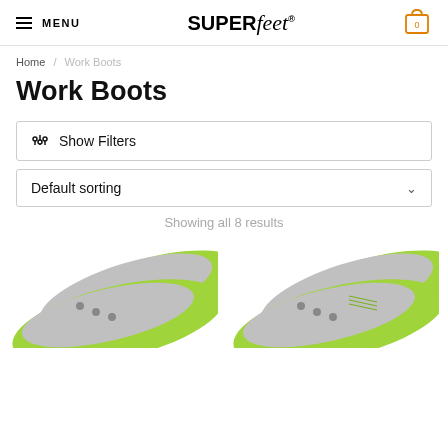MENU | SUPERfeet® | Cart 0
Home / Work Boots
Work Boots
⊞ Show Filters
Default sorting ∨
Showing all 8 results
[Figure (photo): Two green and gray Superfeet insoles shown from above at an angle, left product image]
[Figure (photo): Two green and gray Superfeet insoles shown from above at an angle, right product image]